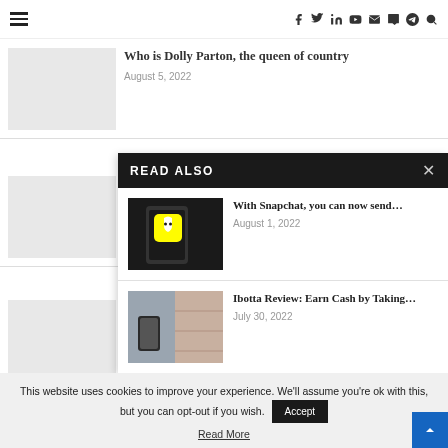Navigation bar with hamburger menu and social icons: f y in YouTube mail V Telegram search
Who is Dolly Parton, the queen of country
August 5, 2022
READ ALSO
With Snapchat, you can now send…
August 1, 2022
Ibotta Review: Earn Cash by Taking…
July 30, 2022
With S… money…
August 1…
Ibotta R… Photos…
July 30, 2…
This website uses cookies to improve your experience. We'll assume you're ok with this, but you can opt-out if you wish.
Read More
Accept